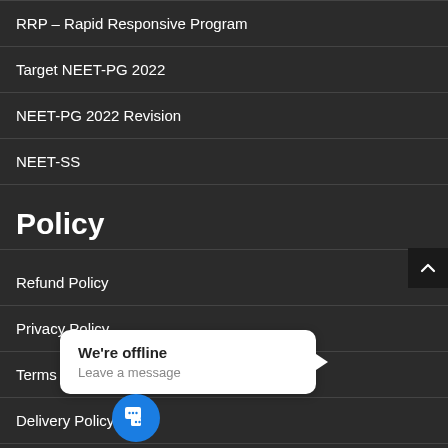RRP – Rapid Responsive Program
Target NEET-PG 2022
NEET-PG 2022 Revision
NEET-SS
Policy
Refund Policy
Privacy Policy
Terms & Conditions
Delivery Policy
How to make Payment
[Figure (screenshot): Chat widget showing 'We're offline / Leave a message' popup with blue chat icon button]